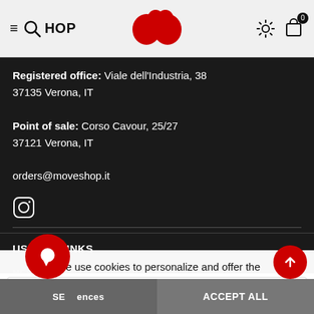≡ Q SHOP (with moveshop logo) ⚙ 🛍 0
Registered office: Viale dell'Industria, 38
37135 Verona, IT
Point of sale: Corso Cavour, 25/27
37121 Verona, IT
orders@moveshop.it
[Figure (logo): Instagram icon (circle with camera outline)]
USEFUL LINKS
NEWSLETTER
We use cookies to personalize and offer the contents that are shown to you, in order to guarantee you the best possible experience. Read More
Enter address (email input placeholder)
SUBSCRIBE  preferences  ACCEPT ALL